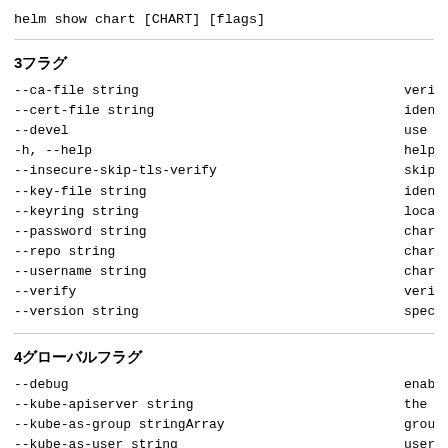helm show chart [CHART] [flags]
3フラグ
--ca-file string           verify certi
--cert-file string         identify HTT
--devel                    use developm
-h, --help                     help for cha
--insecure-skip-tls-verify skip tls cer
--key-file string          identify HTT
--keyring string           location of
--password string          chart reposi
--repo string              chart reposi
--username string          chart reposi
--verify                   verify the p
--version string           specify the
4グローバルフラグ
--debug                    enable verb
--kube-apiserver string    the address
--kube-as-group stringArray group to im
--kube-as-user string      username to
--kube-ca-file string      the certifi
--kube-context string      name of the
--kube-token string        bearer toke
--kubeconfig string        path to the